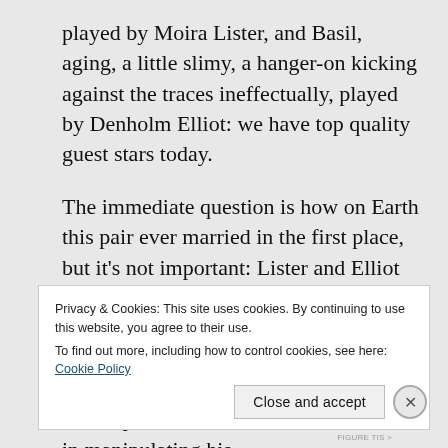played by Moira Lister, and Basil, aging, a little slimy, a hanger-on kicking against the traces ineffectually, played by Denholm Elliot: we have top quality guest stars today.
The immediate question is how on Earth this pair ever married in the first place, but it’s not important: Lister and Elliot do enough with the script to convince us that here is a couple in whom love has long since died, leaving a bonding of spite on both sides, she for his living off her ample means, he for her directness in manipulating his
Privacy & Cookies: This site uses cookies. By continuing to use this website, you agree to their use.
To find out more, including how to control cookies, see here: Cookie Policy
Close and accept